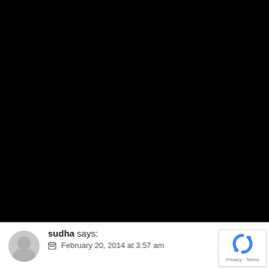[Figure (other): Large black rectangle occupying the top portion of the page, appears to be a video or image that failed to load or is completely dark.]
sudha says:
February 20, 2014 at 3:57 am
[Figure (logo): Google reCAPTCHA badge in the bottom right corner showing the reCAPTCHA logo and 'Privacy - Terms' text.]